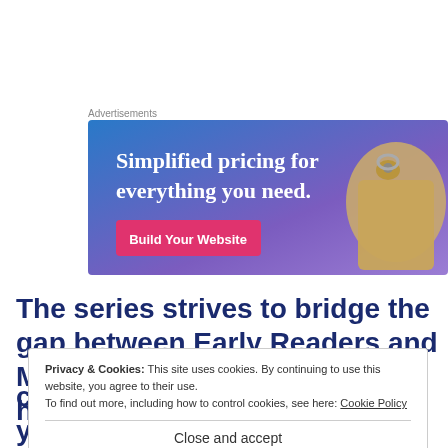Advertisements
[Figure (illustration): Advertisement banner with gradient background (blue to purple). Text reads 'Simplified pricing for everything you need.' with a pink 'Build Your Website' button and a price tag graphic.]
The series strives to bridge the gap between Early Readers and Middle Grade (ages 9-13) and has illustrations, not only t... a... .
Privacy & Cookies: This site uses cookies. By continuing to use this website, you agree to their use.
To find out more, including how to control cookies, see here: Cookie Policy
Close and accept
chapters of this first book to younger listeners and readers.